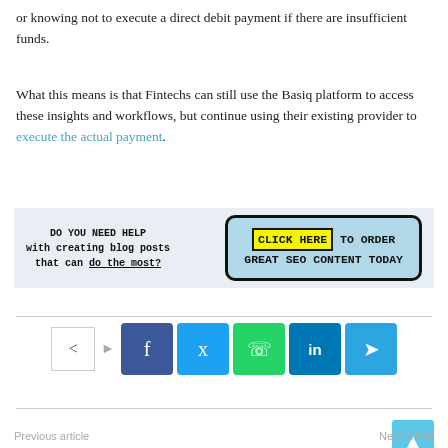or knowing not to execute a direct debit payment if there are insufficient funds.
What this means is that Fintechs can still use the Basiq platform to access these insights and workflows, but continue using their existing provider to execute the actual payment.
[Figure (infographic): Advertisement banner: 'DO YOU NEED HELP with creating blog posts that can do the most?' with a cyan button 'CLICK HERE TO ORDER GREAT SEO CONTENT TODAY']
[Figure (infographic): Social share row with share icon, arrow, and colored buttons for Facebook (blue), Twitter (cyan), WhatsApp (green), LinkedIn (dark blue), Telegram (light blue)]
[Figure (infographic): Scroll-to-top button (cyan with up arrow)]
Previous article    Next article